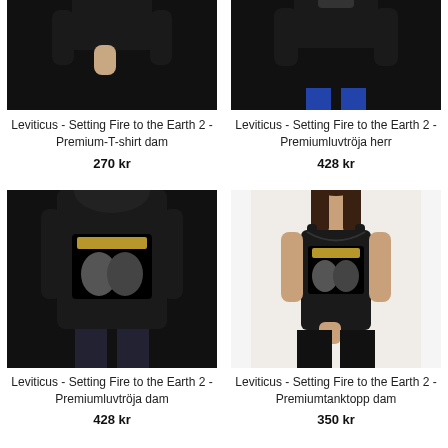[Figure (photo): Black premium t-shirt shown from back, female model, partial view cropped at top]
Leviticus - Setting Fire to the Earth 2 - Premium-T-shirt dam
270 kr
[Figure (photo): Black premium hoodie shown from back, male model, partial view cropped at top]
Leviticus - Setting Fire to the Earth 2 - Premiumluvtröja herr
428 kr
[Figure (photo): Black premium hoodie with Leviticus band print shown from back, female model]
Leviticus - Setting Fire to the Earth 2 - Premiumluvtröja dam
428 kr
[Figure (photo): Black premium tank top with Leviticus band print, female model]
Leviticus - Setting Fire to the Earth 2 - Premiumtanktopp dam
350 kr